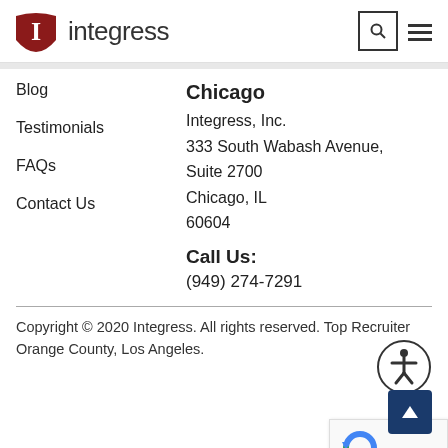[Figure (logo): Integress company logo with red shield icon and company name]
Blog
Testimonials
FAQs
Contact Us
Chicago
Integress, Inc.
333 South Wabash Avenue,
Suite 2700
Chicago, IL
60604
Call Us:
(949) 274-7291
Copyright © 2020 Integress. All rights reserved. Top Recruiter Orange County, Los Angeles.